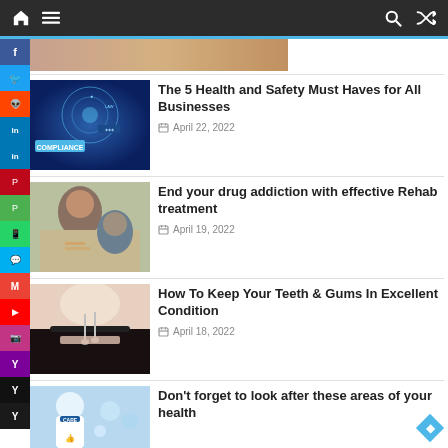Website navigation bar with home, menu, search, and shuffle icons
[Figure (screenshot): Partially visible article thumbnail at the top (cropped)]
The 5 Health and Safety Must Haves for All Businesses
April 22, 2022
[Figure (photo): Business compliance concept image with a person touching a digital screen showing COMPLIANCE]
End your drug addiction with effective Rehab treatment
April 19, 2022
[Figure (photo): Group therapy or counseling session with people smiling]
How To Keep Your Teeth & Gums In Excellent Condition
April 18, 2022
[Figure (photo): Dental examination showing dentist checking patient's teeth with tools]
Don't forget to look after these areas of your health
[Figure (photo): Doctor in white coat with CARE badge surrounded by medical icons]